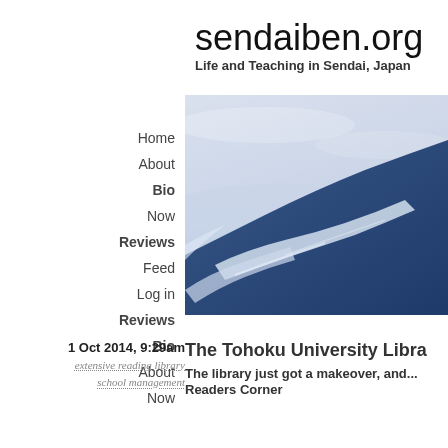sendaiben.org
Life and Teaching in Sendai, Japan
Home
About
Bio
Now
Reviews
Feed
Log in
Reviews
Bio
About
Now
[Figure (photo): Aerial or mountain view showing snow-covered slopes with blue and white coloring, likely a Japanese mountain]
1 Oct 2014, 9:29am
extensive reading library
school management
The Tohoku University Libra
The library just got a makeover, and... Readers Corner